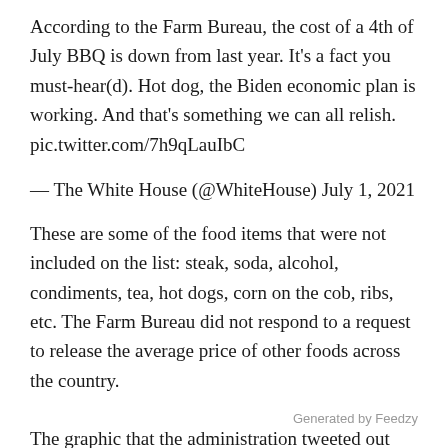According to the Farm Bureau, the cost of a 4th of July BBQ is down from last year. It’s a fact you must-hear(d). Hot dog, the Biden economic plan is working. And that’s something we can all relish. pic.twitter.com/7h9qLauIbC
— The White House (@WhiteHouse) July 1, 2021
These are some of the food items that were not included on the list: steak, soda, alcohol, condiments, tea, hot dogs, corn on the cob, ribs, etc. The Farm Bureau did not respond to a request to release the average price of other foods across the country.
The graphic that the administration tweeted out did